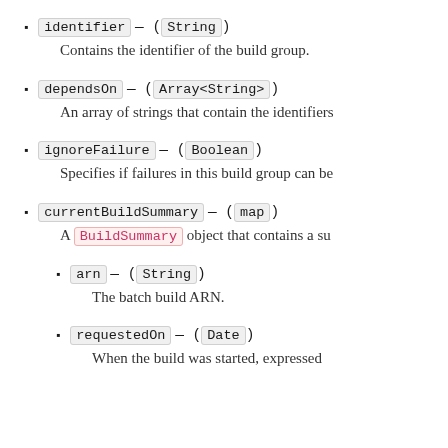identifier — (String)
Contains the identifier of the build group.
dependsOn — (Array<String>)
An array of strings that contain the identifiers
ignoreFailure — (Boolean)
Specifies if failures in this build group can be
currentBuildSummary — (map)
A BuildSummary object that contains a su
arn — (String)
The batch build ARN.
requestedOn — (Date)
When the build was started, expressed